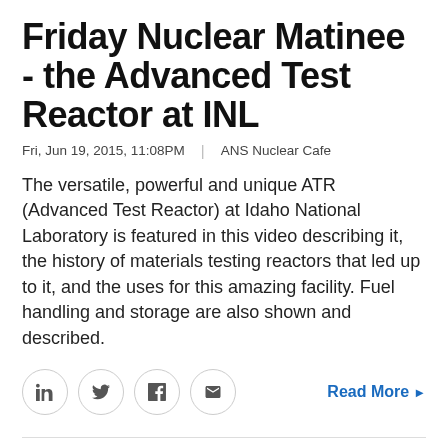Friday Nuclear Matinee - the Advanced Test Reactor at INL
Fri, Jun 19, 2015, 11:08PM  |  ANS Nuclear Cafe
The versatile, powerful and unique ATR (Advanced Test Reactor) at Idaho National Laboratory is featured in this video describing it, the history of materials testing reactors that led up to it, and the uses for this amazing facility. Fuel handling and storage are also shown and described.
Nuclear Matinee: Making Sci-